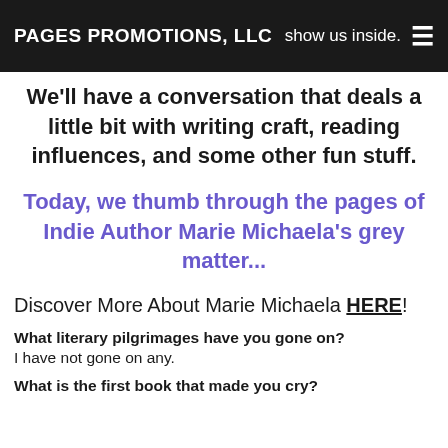PAGES PROMOTIONS, LLC — show us inside.
We'll have a conversation that deals a little bit with writing craft, reading influences, and some other fun stuff.
Today, we thumb through the pages of Indie Author Marie Michaela's grey matter...
Discover More About Marie Michaela HERE!
What literary pilgrimages have you gone on?
I have not gone on any.
What is the first book that made you cry?